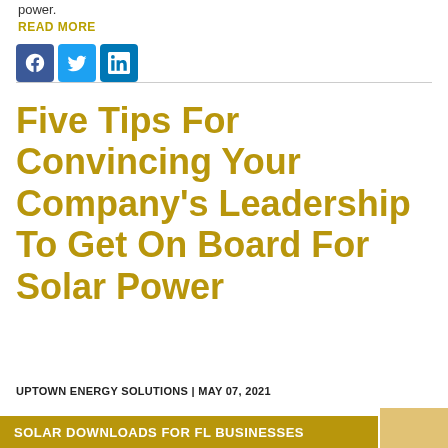power.
READ MORE
[Figure (other): Social media icons: Facebook, Twitter, LinkedIn]
Five Tips For Convincing Your Company's Leadership To Get On Board For Solar Power
UPTOWN ENERGY SOLUTIONS  |  MAY 07, 2021
SOLAR DOWNLOADS FOR FL BUSINESSES